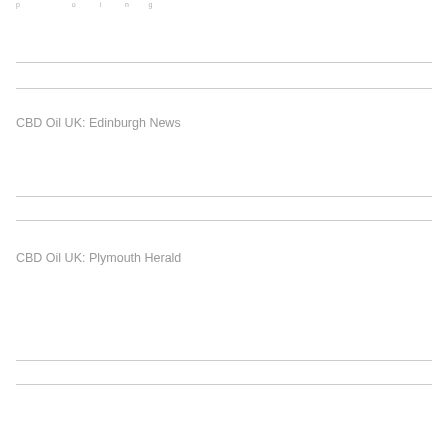...p...o...i...n...g...
CBD Oil UK: Edinburgh News
CBD Oil UK: Plymouth Herald